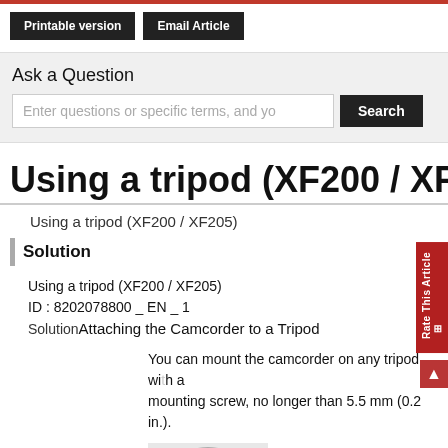Printable version | Email Article
Ask a Question
Enter questions or specific terms, and yo
Using a tripod (XF200 / XF205)
Using a tripod (XF200 / XF205)
Solution
Using a tripod (XF200 / XF205)
ID : 8202078800 _ EN _ 1
SolutionAttaching the Camcorder to a Tripod
You can mount the camcorder on any tripod with a mounting screw, no longer than 5.5 mm (0.2 in.).
[Figure (illustration): Partial illustration of a tripod/camcorder mounting screw area]